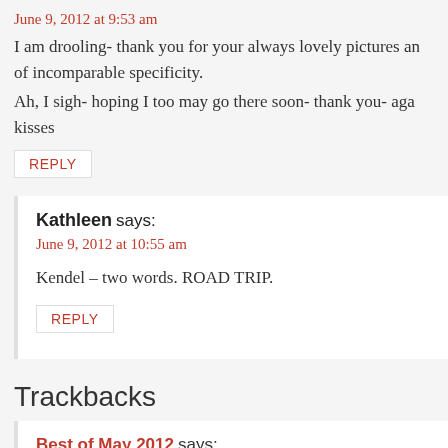June 9, 2012 at 9:53 am
I am drooling- thank you for your always lovely pictures and of incomparable specificity.
Ah, I sigh- hoping I too may go there soon- thank you- again kisses
REPLY
Kathleen says:
June 9, 2012 at 10:55 am
Kendel – two words. ROAD TRIP.
REPLY
Trackbacks
Best of May 2012 says:
January 21, 2013 at 3:14 pm